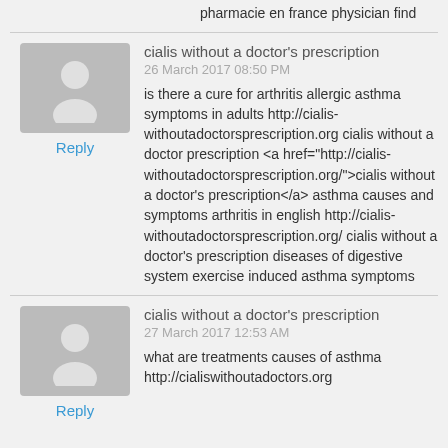pharmacie en france physician find
cialis without a doctor's prescription
26 March 2017 08:50 PM

is there a cure for arthritis allergic asthma symptoms in adults http://cialis-withoutadoctorsprescription.org cialis without a doctor prescription <a href="http://cialis-withoutadoctorsprescription.org/">cialis without a doctor's prescription</a> asthma causes and symptoms arthritis in english http://cialis-withoutadoctorsprescription.org/ cialis without a doctor's prescription diseases of digestive system exercise induced asthma symptoms
Reply
cialis without a doctor's prescription
27 March 2017 12:53 AM

what are treatments causes of asthma http://cialiswithoutadoctors.org
Reply